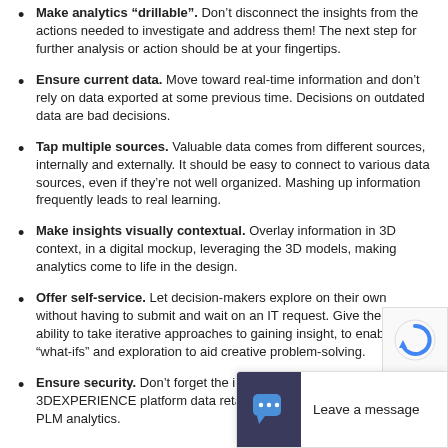Make analytics “drillable”. Don’t disconnect the insights from the actions needed to investigate and address them! The next step for further analysis or action should be at your fingertips.
Ensure current data. Move toward real-time information and don’t rely on data exported at some previous time. Decisions on outdated data are bad decisions.
Tap multiple sources. Valuable data comes from different sources, internally and externally. It should be easy to connect to various data sources, even if they’re not well organized. Mashing up information frequently leads to real learning.
Make insights visually contextual. Overlay information in 3D context, in a digital mockup, leveraging the 3D models, making analytics come to life in the design.
Offer self-service. Let decision-makers explore on their own without having to submit and wait on an IT request. Give them the ability to take iterative approaches to gaining insight, to enable “what-ifs” and exploration to aid creative problem-solving.
Ensure security. Don’t forget the importance of access control. 3DEXPERIENCE platform data retains its security and access in PLM analytics.